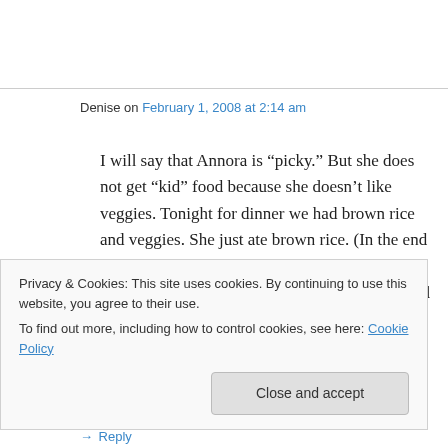Denise on February 1, 2008 at 2:14 am
I will say that Annora is “picky.” But she does not get “kid” food because she doesn’t like veggies. Tonight for dinner we had brown rice and veggies. She just ate brown rice. (In the end she did eat 4 green beans) She was still hungry later tonight so she had a banana and some dried cranberries. No junk. Junk should never be an
Privacy & Cookies: This site uses cookies. By continuing to use this website, you agree to their use.
To find out more, including how to control cookies, see here: Cookie Policy
Close and accept
→ Reply